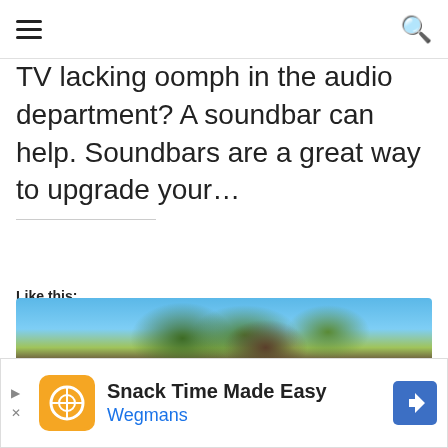≡ [hamburger menu] [search icon]
TV lacking oomph in the audio department? A soundbar can help. Soundbars are a great way to upgrade your…
Like this:
Loading...
[Figure (other): Social sharing bar with heart, facebook, twitter, google+, and pinterest icons, flanked by horizontal lines]
[Figure (photo): Partial photo of trees with blue sky visible at top]
[Figure (other): Advertisement banner: Snack Time Made Easy - Wegmans, with orange logo and blue navigation arrow icon]